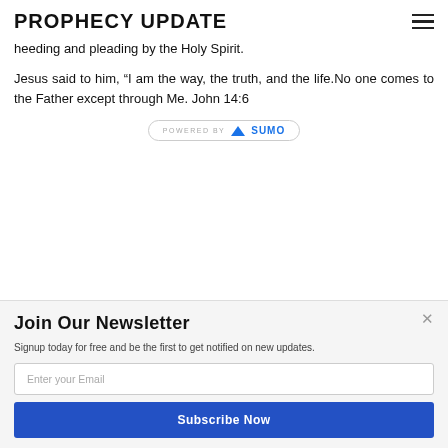PROPHECY UPDATE
heeding and pleading by the Holy Spirit.
Jesus said to him, “I am the way, the truth, and the life.No one comes to the Father except through Me. John 14:6
[Figure (logo): Powered by SUMO badge/logo]
Join Our Newsletter
Signup today for free and be the first to get notified on new updates.
Enter your Email
Subscribe Now